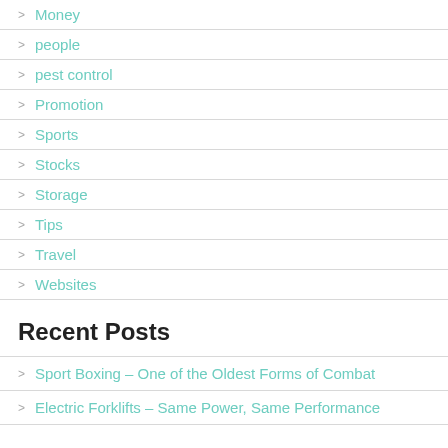Money
people
pest control
Promotion
Sports
Stocks
Storage
Tips
Travel
Websites
Recent Posts
Sport Boxing – One of the Oldest Forms of Combat
Electric Forklifts – Same Power, Same Performance